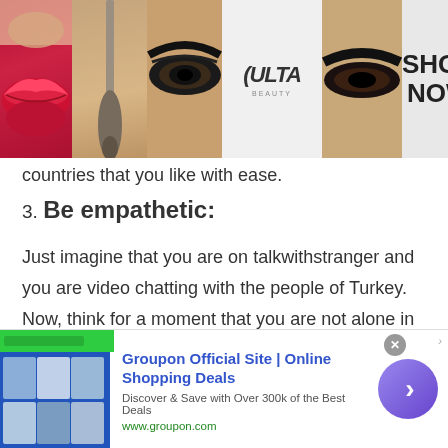[Figure (photo): Top advertisement banner for ULTA Beauty featuring makeup imagery (lips, brush, eye), ULTA logo, and SHOP NOW call to action]
countries that you like with ease.
3. Be empathetic:
Just imagine that you are on talkwithstranger and you are video chatting with the people of Turkey. Now, think for a moment that you are not alone in this video call, rather you are doing video chat with random people of Turkey. When you chat with people of Turkey and one of the participants of the video call shares their heartbreaking story and you
[Figure (screenshot): Bottom advertisement for Groupon Official Site showing Online Shopping Deals with thumbnail images, description text, website URL, and a circular arrow button]